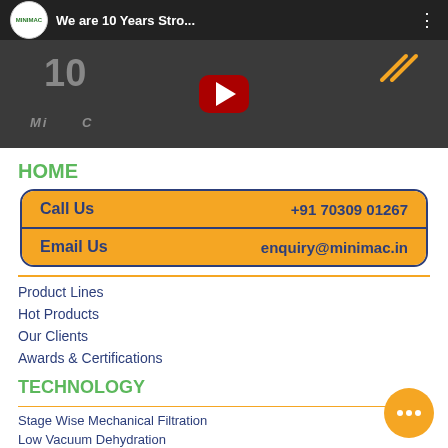[Figure (screenshot): YouTube video thumbnail showing 'We are 10 Years Stro...' with play button and Minimac logo]
HOME
| Call Us | +91 70309 01267 |
| Email Us | enquiry@minimac.in |
Product Lines
Hot Products
Our Clients
Awards & Certifications
TECHNOLOGY
Stage Wise Mechanical Filtration
Low Vacuum Dehydration
Electrostatic Fluid Cleaning